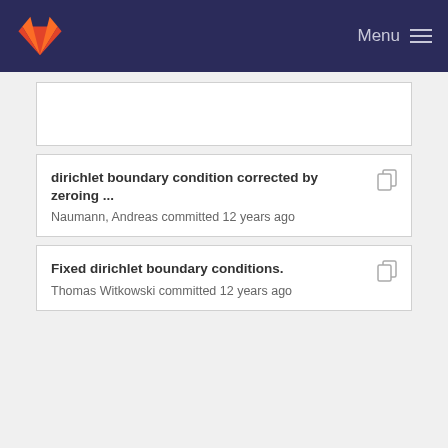Menu
dirichlet boundary condition corrected by zeroing ... — Naumann, Andreas committed 12 years ago
Fixed dirichlet boundary conditions. — Thomas Witkowski committed 12 years ago